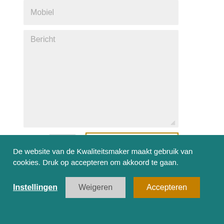Mobiel
Bericht
1 + 6 =
Stuur maar door!
Ik kijk uit naar je bericht.
De website van de Kwaliteitsmaker maakt gebruik van cookies. Druk op accepteren om akkoord te gaan.
Instellingen
Weigeren
Accepteren